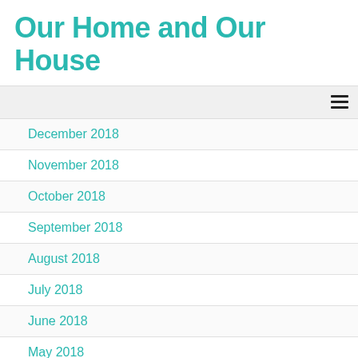Our Home and Our House
December 2018
November 2018
October 2018
September 2018
August 2018
July 2018
June 2018
May 2018
April 2018